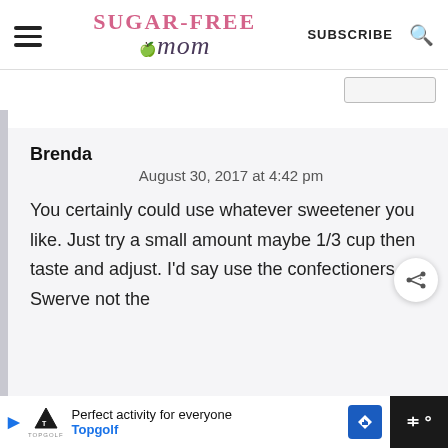Sugar-Free Mom | SUBSCRIBE
Brenda
August 30, 2017 at 4:42 pm

You certainly could use whatever sweetener you like. Just try a small amount maybe 1/3 cup then taste and adjust. I'd say use the confectioners Swerve not the
Perfect activity for everyone Topgolf